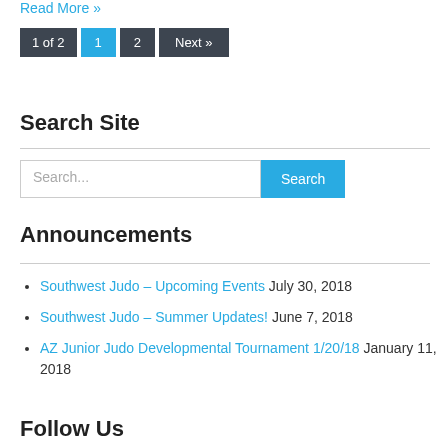Read More »
1 of 2   1   2   Next »
Search Site
Search...  Search
Announcements
Southwest Judo – Upcoming Events July 30, 2018
Southwest Judo – Summer Updates! June 7, 2018
AZ Junior Judo Developmental Tournament 1/20/18 January 11, 2018
Follow Us